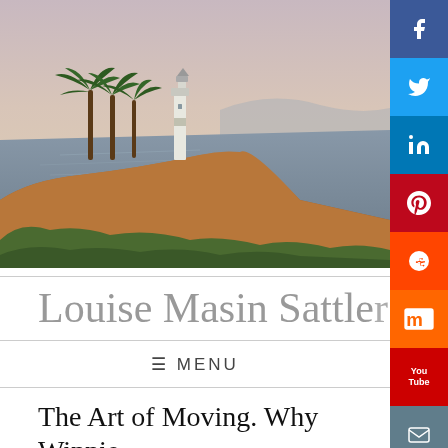[Figure (photo): Coastal cliffs with a lighthouse and palm trees at dusk, ocean visible in background]
Louise Masin Sattler
≡ MENU
The Art of Moving. Why Winnie the Pooh makes the cut and the